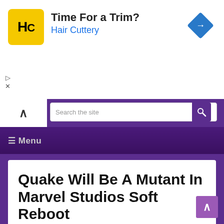[Figure (screenshot): Advertisement banner for Hair Cuttery with yellow logo, text 'Time For a Trim?' and 'Hair Cuttery' in blue, and a blue diamond navigation arrow icon on the right.]
[Figure (screenshot): Website navigation area with purple background, white chevron-up area on left, search bar reading 'Search the site', and purple search icon button.]
[Figure (screenshot): Purple menu bar with hamburger menu icon and 'Menu' text.]
Quake Will Be A Mutant In Marvel Studios Soft Reboot
May 9, 2021